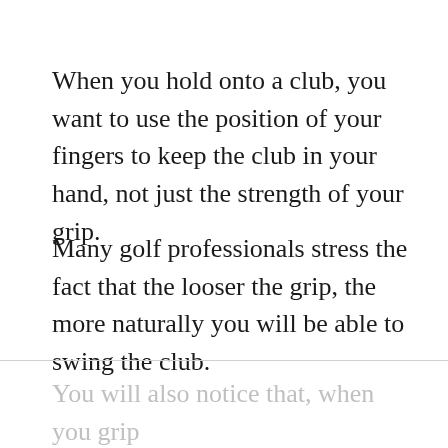When you hold onto a club, you want to use the position of your fingers to keep the club in your hand, not just the strength of your grip.
Many golf professionals stress the fact that the looser the grip, the more naturally you will be able to swing the club.
You will also notice that, when you grip